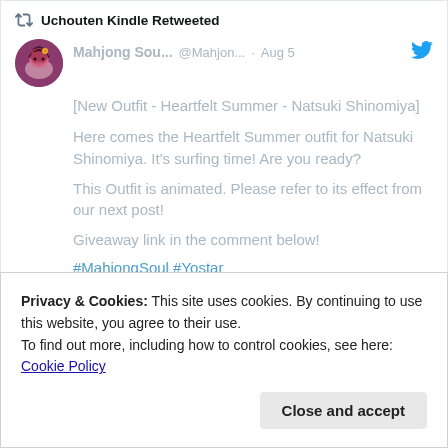Uchouten Kindle Retweeted
Mahjong Sou...  @Mahjon...  · Aug 5
[New Outfit - Heartfelt Summer - Natsuki Shinomiya]
Here comes the Heartfelt Summer outfit for Natsuki Shinomiya. It's surfing time! Are you ready?
This Outfit is animated. Please refer to its effect from our next post!
Giveaway link in the comment below!
#MahjongSoul #Yostar
Privacy & Cookies: This site uses cookies. By continuing to use this website, you agree to their use.
To find out more, including how to control cookies, see here: Cookie Policy
Close and accept